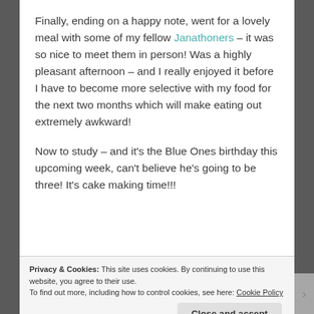Finally, ending on a happy note, went for a lovely meal with some of my fellow Janathoners – it was so nice to meet them in person! Was a highly pleasant afternoon – and I really enjoyed it before I have to become more selective with my food for the next two months which will make eating out extremely awkward!
Now to study – and it's the Blue Ones birthday this upcoming week, can't believe he's going to be three! It's cake making time!!!
Privacy & Cookies: This site uses cookies. By continuing to use this website, you agree to their use. To find out more, including how to control cookies, see here: Cookie Policy  Close and accept